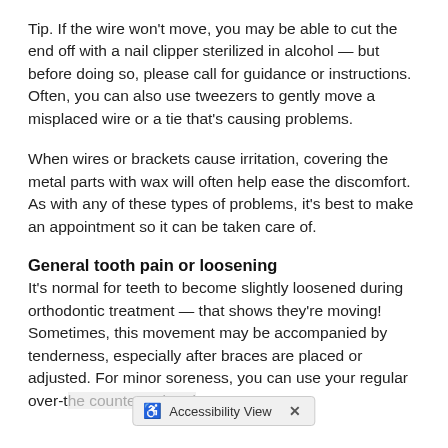Tip. If the wire won't move, you may be able to cut the end off with a nail clipper sterilized in alcohol — but before doing so, please call for guidance or instructions. Often, you can also use tweezers to gently move a misplaced wire or a tie that's causing problems.
When wires or brackets cause irritation, covering the metal parts with wax will often help ease the discomfort. As with any of these types of problems, it's best to make an appointment so it can be taken care of.
General tooth pain or loosening
It's normal for teeth to become slightly loosened during orthodontic treatment — that shows they're moving! Sometimes, this movement may be accompanied by tenderness, especially after braces are placed or adjusted. For minor soreness, you can use your regular over-t[he counter pain rel]ver. A